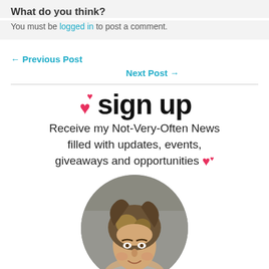What do you think?
You must be logged in to post a comment.
← Previous Post
Next Post →
[Figure (illustration): Sign up banner with hearts emoji and large bold 'sign up' text, followed by text: Receive my Not-Very-Often News filled with updates, events, giveaways and opportunities, with a circular photo of a woman below]
Receive my Not-Very-Often News filled with updates, events, giveaways and opportunities